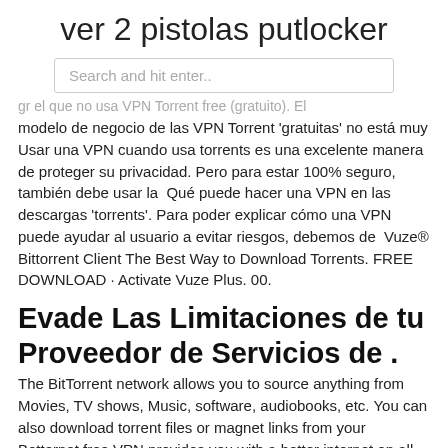ver 2 pistolas putlocker
Search and hit enter..
gr el que no usa VPN Torrent free (gratuito). El modelo de negocio de las VPN Torrent 'gratuitas' no está muy Usar una VPN cuando usa torrents es una excelente manera de proteger su privacidad. Pero para estar 100% seguro, también debe usar la  Qué puede hacer una VPN en las descargas 'torrents'. Para poder explicar cómo una VPN puede ayudar al usuario a evitar riesgos, debemos de  Vuze® Bittorrent Client The Best Way to Download Torrents. FREE DOWNLOAD · Activate Vuze Plus. 00.
Evade Las Limitaciones de tu Proveedor de Servicios de .
The BitTorrent network allows you to source anything from Movies, TV shows, Music, software, audiobooks, etc. You can also download torrent files or magnet links from your Betternet free VPN provides you with a better internet on all devices to unblock any websites, protect your privacy against hackers and surf the web anonymously. Our Free VPN (Virtual Private